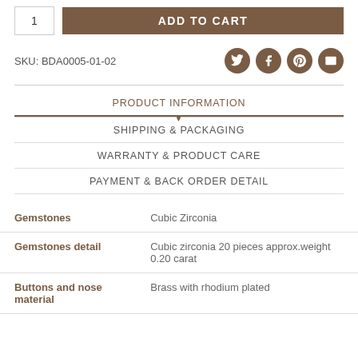1  ADD TO CART
SKU: BDA0005-01-02
PRODUCT INFORMATION
SHIPPING & PACKAGING
WARRANTY & PRODUCT CARE
PAYMENT & BACK ORDER DETAIL
| Property | Value |
| --- | --- |
| Gemstones | Cubic Zirconia |
| Gemstones detail | Cubic zirconia 20 pieces approx.weight 0.20 carat |
| Buttons and nose material | Brass with rhodium plated |